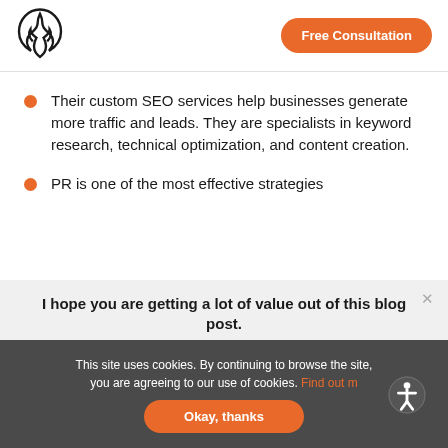[Figure (logo): Single Grain flame/droplet logo mark in black outline]
Free Consultation
Their custom SEO services help businesses generate more traffic and leads. They are specialists in keyword research, technical optimization, and content creation.
PR is one of the most effective strategies
I hope you are getting a lot of value out of this blog post.
Do you want to learn more about this topic? Schedule a Free Consultation call with a Single Grain Expert now!
This site uses cookies. By continuing to browse the site, you are agreeing to our use of cookies. Find out more
Okay, thanks